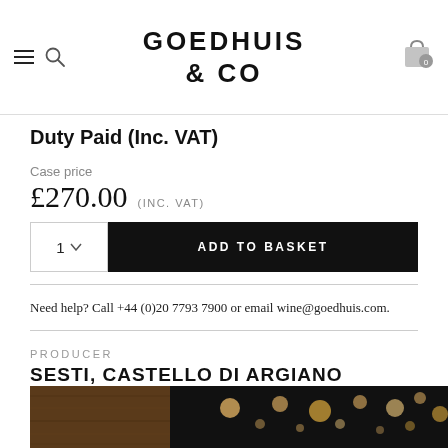GOEDHUIS & CO
Duty Paid (Inc. VAT)
Case price
£270.00 (INC. VAT)
ADD TO BASKET
Need help? Call +44 (0)20 7793 7900 or email wine@goedhuis.com.
PRODUCER
SESTI, CASTELLO DI ARGIANO
[Figure (photo): Partial view of a dimly lit photo with warm bokeh lights against a dark background, and wooden textures on the left side.]